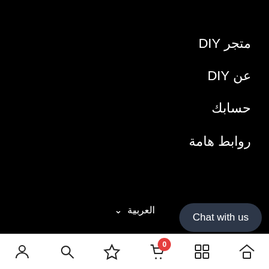متجر DIY
عن DIY
حسابك
روابط هامة
العربية ∨
© diyarabia 2021
[Figure (screenshot): Mobile bottom navigation bar with icons: user/account, search, wishlist/star, cart (with badge showing 0), grid/menu, home. Chat with us button overlay.]